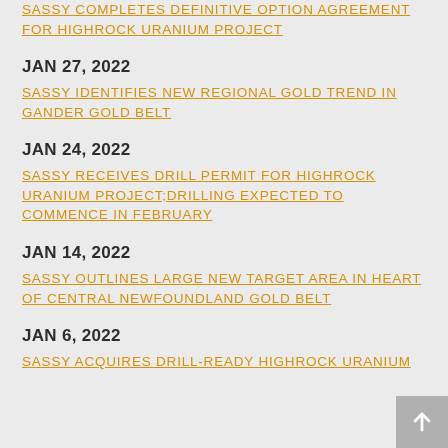SASSY COMPLETES DEFINITIVE OPTION AGREEMENT FOR HIGHROCK URANIUM PROJECT
JAN 27, 2022
SASSY IDENTIFIES NEW REGIONAL GOLD TREND IN GANDER GOLD BELT
JAN 24, 2022
SASSY RECEIVES DRILL PERMIT FOR HIGHROCK URANIUM PROJECT;DRILLING EXPECTED TO COMMENCE IN FEBRUARY
JAN 14, 2022
SASSY OUTLINES LARGE NEW TARGET AREA IN HEART OF CENTRAL NEWFOUNDLAND GOLD BELT
JAN 6, 2022
SASSY ACQUIRES DRILL-READY HIGHROCK URANIUM